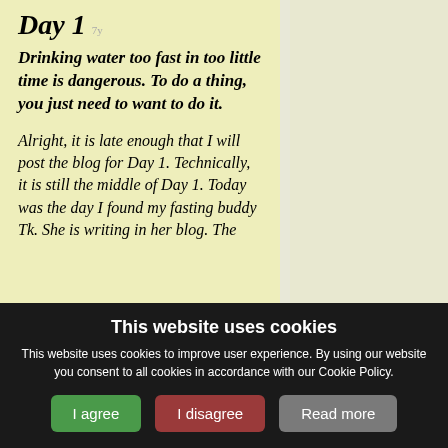Day 1  7y
Drinking water too fast in too little time is dangerous. To do a thing, you just need to want to do it.
Alright, it is late enough that I will post the blog for Day 1. Technically, it is still the middle of Day 1. Today was the day I found my fasting buddy Tk. She is writing in her blog. The
This website uses cookies
This website uses cookies to improve user experience. By using our website you consent to all cookies in accordance with our Cookie Policy.